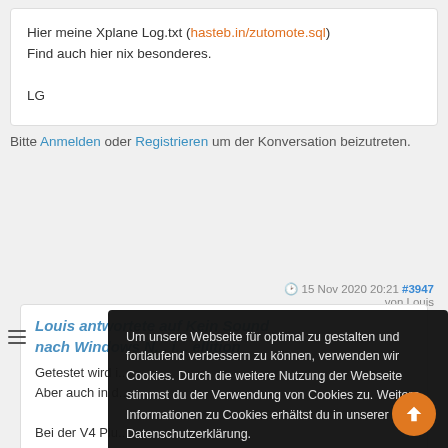Hier meine Xplane Log.txt (hasteb.in/zutomote.sql)
Find auch hier nix besonderes.

LG
Bitte Anmelden oder Registrieren um der Konversation beizutreten.
15 Nov 2020 20:21 #3947 von Louis
Louis antwortete auf Kein Sound nach Window... N... i... ellition
Getestet wird i...
Aber auch in d...
Bei der V4 Plu...
Sound, vermu...
da man gerede...
faded der Sou...
Um unsere Webseite für optimal zu gestalten und fortlaufend verbessern zu können, verwenden wir Cookies. Durch die weitere Nutzung der Webseite stimmst du der Verwendung von Cookies zu. Weitere Informationen zu Cookies erhältst du in unserer Datenschutzerklärung.
Weitere Informationen
Einverstanden